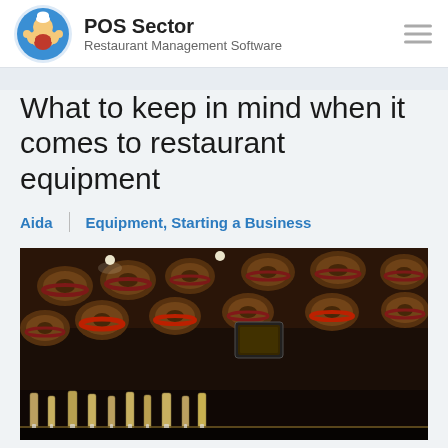POS Sector - Restaurant Management Software
What to keep in mind when it comes to restaurant equipment
Aida | Equipment, Starting a Business
[Figure (photo): Restaurant bar interior with wooden beer kegs mounted on ceiling/walls and a row of beer taps in the foreground, dimly lit with spot lighting]